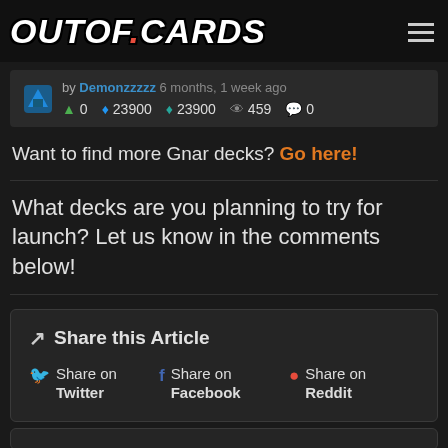OUTOF.CARDS
by Demonzzzzz 6 months, 1 week ago  ▲ 0  ♦ 23900  ♦ 23900  👁 459  💬 0
Want to find more Gnar decks? Go here!
What decks are you planning to try for launch? Let us know in the comments below!
Share this Article — Share on Twitter, Share on Facebook, Share on Reddit